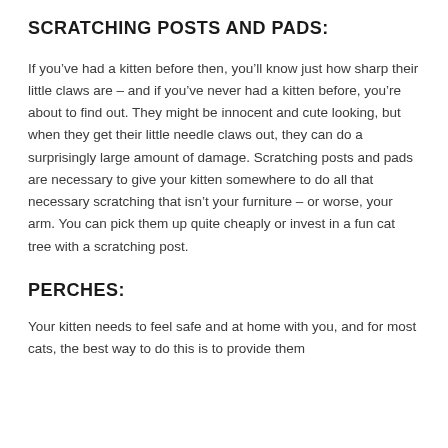SCRATCHING POSTS AND PADS:
If you’ve had a kitten before then, you’ll know just how sharp their little claws are – and if you’ve never had a kitten before, you’re about to find out. They might be innocent and cute looking, but when they get their little needle claws out, they can do a surprisingly large amount of damage. Scratching posts and pads are necessary to give your kitten somewhere to do all that necessary scratching that isn’t your furniture – or worse, your arm. You can pick them up quite cheaply or invest in a fun cat tree with a scratching post.
PERCHES:
Your kitten needs to feel safe and at home with you, and for most cats, the best way to do this is to provide them